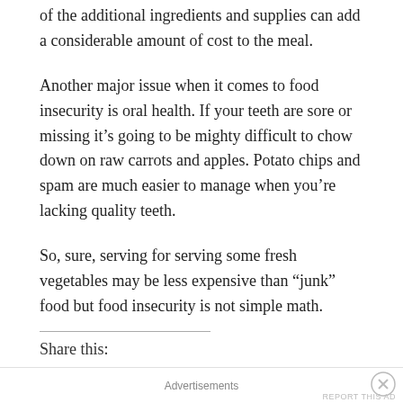of the additional ingredients and supplies can add a considerable amount of cost to the meal.
Another major issue when it comes to food insecurity is oral health. If your teeth are sore or missing it's going to be mighty difficult to chow down on raw carrots and apples. Potato chips and spam are much easier to manage when you're lacking quality teeth.
So, sure, serving for serving some fresh vegetables may be less expensive than “junk” food but food insecurity is not simple math.
Share this:
Advertisements